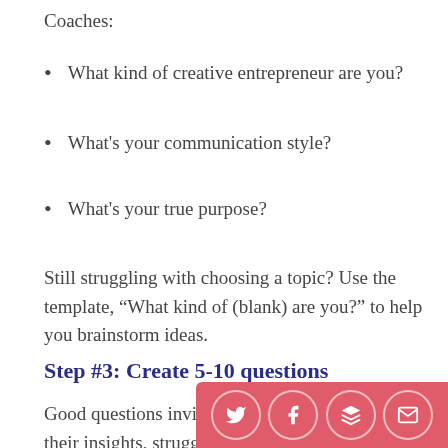Coaches:
What kind of creative entrepreneur are you?
What's your communication style?
What's your true purpose?
Still struggling with choosing a topic? Use the template, “What kind of (blank) are you?” to help you brainstorm ideas.
Step #3: Create 5-10 questions
Good questions invite you r... their insights, struggles, a...rk